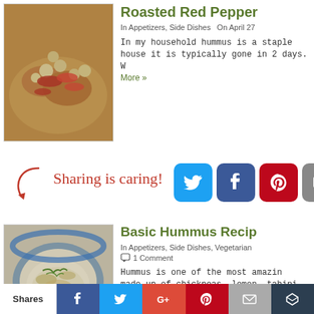[Figure (photo): Photo of hummus topped with roasted red peppers and chickpeas]
Roasted Red Pepper
In Appetizers, Side Dishes   On April 27
In my household hummus is a staple... house it is typically gone in 2 days. W... More »
[Figure (infographic): Sharing is caring! social share buttons: Twitter, Facebook, Pinterest, Email, More]
[Figure (photo): Photo of basic hummus in a blue bowl with olive oil and herbs]
Basic Hummus Recip
In Appetizers, Side Dishes, Vegetarian
1 Comment
Hummus is one of the most amazin... made up of chickpeas, lemon, tahini... add whatever you... Read More »
Shares | Facebook | Twitter | G+ | Pinterest | Email | More